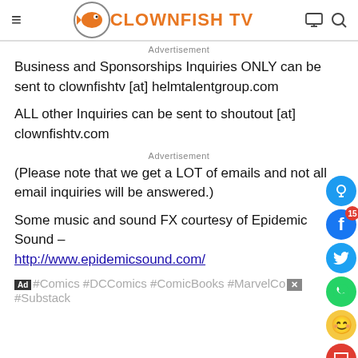Clownfish TV
Advertisement
Business and Sponsorships Inquiries ONLY can be sent to clownfishtv [at] helmtalentgroup.com
ALL other Inquiries can be sent to shoutout [at] clownfishtv.com
Advertisement
(Please note that we get a LOT of emails and not all email inquiries will be answered.)
Some music and sound FX courtesy of Epidemic Sound – http://www.epidemicsound.com/
#Comics #DCComics #ComicBooks #MarvelComics #Substack